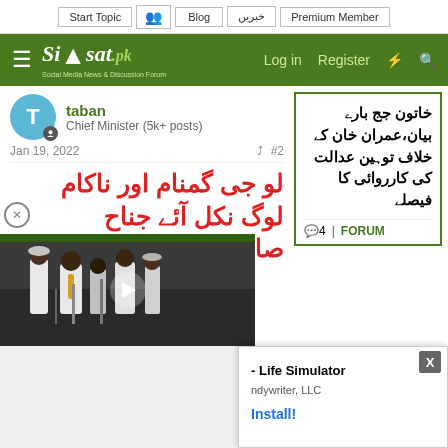Start Topic | Blog | خبریں | Premium Member
[Figure (logo): Siasat.pk logo - Social Media News & Discussion Forum on green navigation bar with Log in, Register links]
taban
Chief Minister (5k+ posts)
Jan 19, 2022  #2
لو جی گمنام اور ناکام
لوگ نکل آئے جناح
صاحب پر کیچڑ اچھال
[Figure (photo): Video thumbnail showing people at an outdoor event with microphones, play button overlay]
خاتون جج بارے بیان،عمران خان کے خلاف توہین عدالت کی کارروائی کا فیصلے
4 | FORUM
[Figure (screenshot): Ad overlay: Life Simulator by indywriter, LLC with Install button]